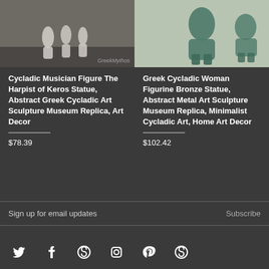[Figure (photo): Photo of Cycladic Musician figure (Harpist of Keros) ceramic statue on dark background]
[Figure (photo): Photo of Greek Cycladic Woman figurine bronze statue on light background]
Cycladic Musician Figure The Harpist of Keros Statue, Abstract Greek Cycladic Art Sculpture Museum Replica, Art Decor
$78.39
Greek Cycladic Woman Figurine Bronze Statue, Abstract Metal Art Sculpture Museum Replica, Minimalist Cycladic Art, Home Art Decor
$102.42
Sign up for email updates
Subscribe